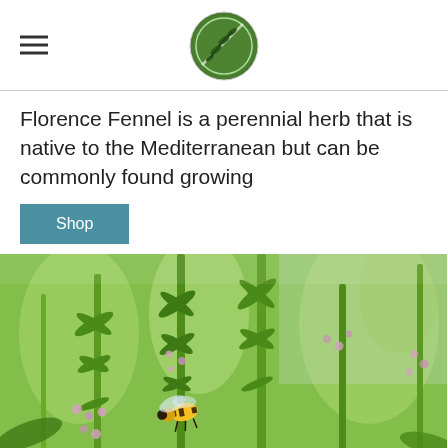[Navigation header with hamburger menu and circular green logo]
Florence Fennel is a perennial herb that is native to the Mediterranean but can be commonly found growing
Shop
[Figure (photo): Close-up photo of herb plants (possibly savory or similar Mediterranean herb) with pink/purple flowers and a bumblebee visiting the blooms, set against a blurred green background]